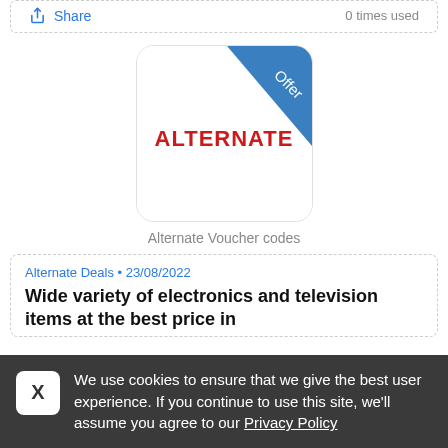Share   0 times used
[Figure (logo): Alternate logo with blue diagonal 'Offer' banner in top-right corner and red 'ALTERNATE' text in center on white background]
Alternate Voucher codes
Alternate Deals • 23/08/2022
Wide variety of electronics and television items at the best price in
We use cookies to ensure that we give the best user experience. If you continue to use this site, we'll assume you agree to our Privacy Policy